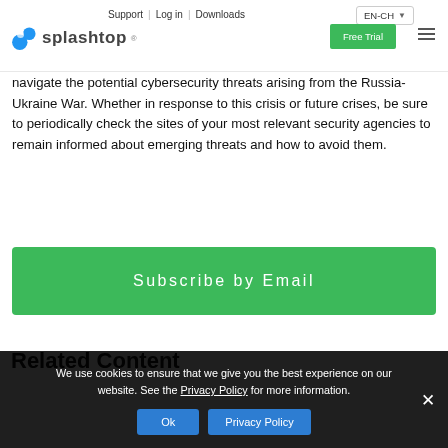Support | Log in | Downloads | EN-CH | Free Trial
[Figure (logo): Splashtop logo with stylized icon and wordmark]
navigate the potential cybersecurity threats arising from the Russia-Ukraine War. Whether in response to this crisis or future crises, be sure to periodically check the sites of your most relevant security agencies to remain informed about emerging threats and how to avoid them.
Subscribe by Email
Related Content
We use cookies to ensure that we give you the best experience on our website. See the Privacy Policy for more information.